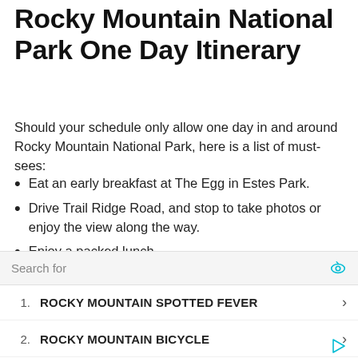Rocky Mountain National Park One Day Itinerary
Should your schedule only allow one day in and around Rocky Mountain National Park, here is a list of must-sees:
Eat an early breakfast at The Egg in Estes Park.
Drive Trail Ridge Road, and stop to take photos or enjoy the view along the way.
Enjoy a packed lunch.
Hike the Bear Lake Trail or the Alpine Ridge Trail. Alpine Ridge is a bit more difficult, as the Bear Lake Trail is fairly level, and Alpine Ridge has steps. You could easily hike both in an afternoon!
Enjoy the shops in downtown Estes Park before dinner
Search for
1. ROCKY MOUNTAIN SPOTTED FEVER
2. ROCKY MOUNTAIN BICYCLE